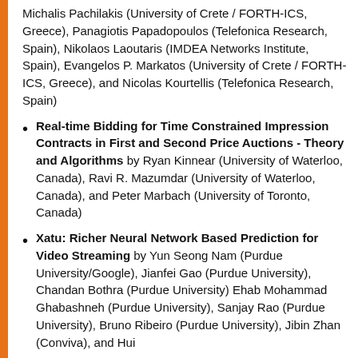Michalis Pachilakis (University of Crete / FORTH-ICS, Greece), Panagiotis Papadopoulos (Telefonica Research, Spain), Nikolaos Laoutaris (IMDEA Networks Institute, Spain), Evangelos P. Markatos (University of Crete / FORTH-ICS, Greece), and Nicolas Kourtellis (Telefonica Research, Spain)
Real-time Bidding for Time Constrained Impression Contracts in First and Second Price Auctions - Theory and Algorithms by Ryan Kinnear (University of Waterloo, Canada), Ravi R. Mazumdar (University of Waterloo, Canada), and Peter Marbach (University of Toronto, Canada)
Xatu: Richer Neural Network Based Prediction for Video Streaming by Yun Seong Nam (Purdue University/Google), Jianfei Gao (Purdue University), Chandan Bothra (Purdue University) Ehab Mohammad Ghabashneh (Purdue University), Sanjay Rao (Purdue University), Bruno Ribeiro (Purdue University), Jibin Zhan (Conviva), and Hui